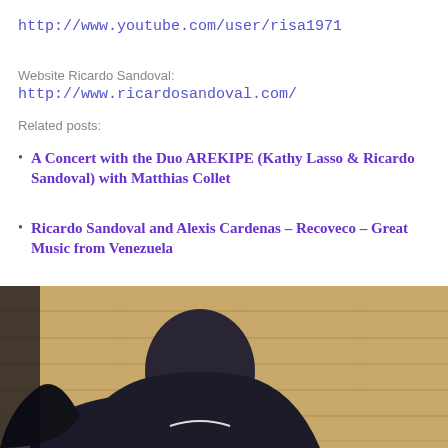http://www.youtube.com/user/risa1971
Website Ricardo Sandoval: http://www.ricardosandoval.com/
Related posts:
A Concert with the Duo AREKIPE (Kathy Lasso & Ricardo Sandoval) with Matthias Collet
Ricardo Sandoval and Alexis Cardenas – Recoveco – Great Music from Venezuela
[Figure (infographic): Social share bar with Facebook, Twitter, Print, Pinterest, and plus buttons, plus a count badge showing 1]
[Figure (photo): Photo of a person from behind, sitting, head bowed, in front of a wooden wall, wearing a dark suit]